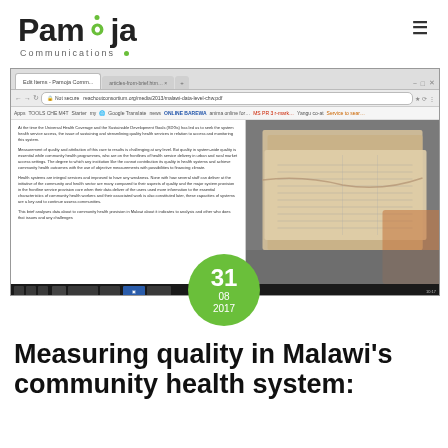[Figure (logo): Pamoja Communications logo with green dot above the O]
[Figure (screenshot): Browser screenshot showing a webpage with text content about community health and a photo of old paper documents/records on the right side. Includes browser chrome with tabs, address bar, and bookmarks toolbar. A green circular date badge reads 31 / 08 / 2017.]
Measuring quality in Malawi's community health system: